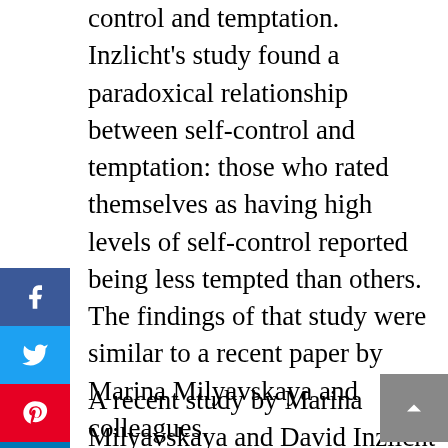control and temptation. Inzlicht's study found a paradoxical relationship between self-control and temptation: those who rated themselves as having high levels of self-control reported being less tempted than others. The findings of that study were similar to a recent paper by Marina Milyavskaya and colleagues.
A recent study by Marina Milyavskaya and David Inzlicht discovered that self-control and willpower are essentially the same. They're the same in that they both help you resist temptations and make good choices.